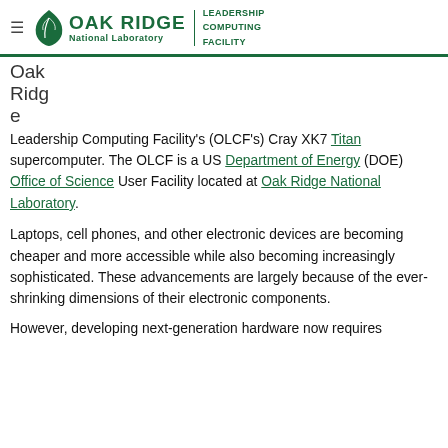Oak Ridge National Laboratory Leadership Computing Facility
Oak Ridge
Leadership Computing Facility's (OLCF's) Cray XK7 Titan supercomputer. The OLCF is a US Department of Energy (DOE) Office of Science User Facility located at Oak Ridge National Laboratory.
Laptops, cell phones, and other electronic devices are becoming cheaper and more accessible while also becoming increasingly sophisticated. These advancements are largely because of the ever-shrinking dimensions of their electronic components.
However, developing next-generation hardware now requires